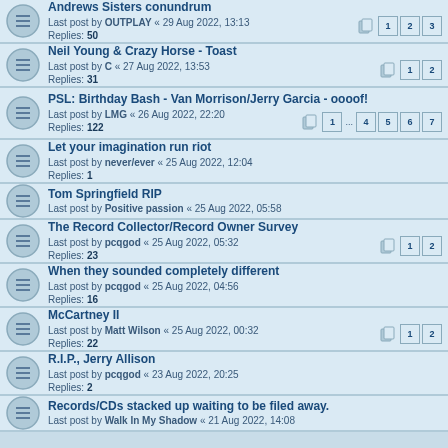Andrews Sisters conundrum
Last post by OUTPLAY « 29 Aug 2022, 13:13
Replies: 50
Pages: 1 2 3
Neil Young & Crazy Horse - Toast
Last post by C « 27 Aug 2022, 13:53
Replies: 31
Pages: 1 2
PSL: Birthday Bash - Van Morrison/Jerry Garcia - oooof!
Last post by LMG « 26 Aug 2022, 22:20
Replies: 122
Pages: 1 ... 4 5 6 7
Let your imagination run riot
Last post by never/ever « 25 Aug 2022, 12:04
Replies: 1
Tom Springfield RIP
Last post by Positive passion « 25 Aug 2022, 05:58
The Record Collector/Record Owner Survey
Last post by pcqgod « 25 Aug 2022, 05:32
Replies: 23
Pages: 1 2
When they sounded completely different
Last post by pcqgod « 25 Aug 2022, 04:56
Replies: 16
McCartney II
Last post by Matt Wilson « 25 Aug 2022, 00:32
Replies: 22
Pages: 1 2
R.I.P., Jerry Allison
Last post by pcqgod « 23 Aug 2022, 20:25
Replies: 2
Records/CDs stacked up waiting to be filed away.
Last post by Walk In My Shadow « 21 Aug 2022, 14:08